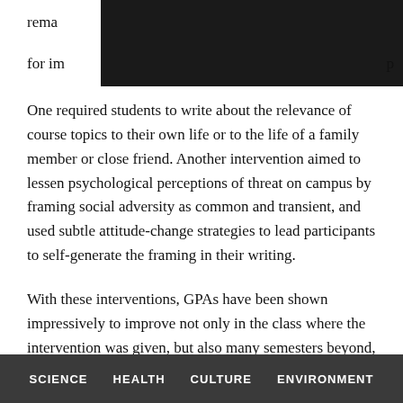rema... es for im... p... p...
One required students to write about the relevance of course topics to their own life or to the life of a family member or close friend. Another intervention aimed to lessen psychological perceptions of threat on campus by framing social adversity as common and transient, and used subtle attitude-change strategies to lead participants to self-generate the framing in their writing.
With these interventions, GPAs have been shown impressively to improve not only in the class where the intervention was given, but also many semesters beyond, Oswald says.
Furthermore, the interventions show the largest benefits accrue
SCIENCE   HEALTH   CULTURE   ENVIRONMENT